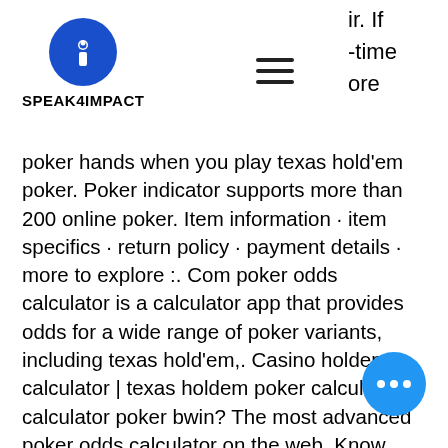SPEAK4IMPACT
poker hands when you play texas hold'em poker. Poker indicator supports more than 200 online poker. Item information · item specifics · return policy · payment details · more to explore :. Com poker odds calculator is a calculator app that provides odds for a wide range of poker variants, including texas hold'em,. Casino holdem calculator | texas holdem poker calculator calculator poker bwin? The most advanced poker odds calculator on the web. Know your probability of having a winning hand against one or many opponents in texas hold'em. Mit dem poker odds calculator kannst du die poker wahrscheinlichkeit errechnen, wie die chancen für ein bestimmtes poker blatt sind ein anderes blatt zu
This Evolution Gaming variant gives play authentic experiences through different